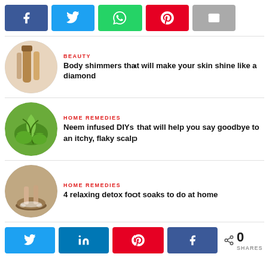[Figure (infographic): Social share buttons: Facebook (blue), Twitter (light blue), WhatsApp (green), Pinterest (red), Email (grey)]
[Figure (photo): Circular image of body shimmer cosmetic products]
BEAUTY
Body shimmers that will make your skin shine like a diamond
[Figure (photo): Circular image of neem leaves]
HOME REMEDIES
Neem infused DIYs that will help you say goodbye to an itchy, flaky scalp
[Figure (photo): Circular image of feet soaking in a bowl]
HOME REMEDIES
4 relaxing detox foot soaks to do at home
[Figure (infographic): Bottom social share buttons: Twitter, LinkedIn, Pinterest, Facebook, and share count showing 0 SHARES]